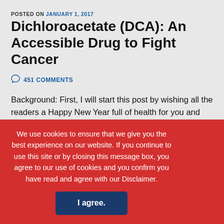POSTED ON JANUARY 1, 2017
Dichloroacetate (DCA): An Accessible Drug to Fight Cancer
451 COMMENTS
Background: First, I will start this post by wishing all the readers a Happy New Year full of health for you and your family, and a lot of success in everything you do! I also like to specifically thank to Ann who was the first visitor/friend this year to post a wish to all of us
CONTINUE READING
We use cookies to ensure that we give you the best experience on our website. If you continue to use this site or by closing this message box, you agree to our use of cookies and you confirm you have read and agree with our Disclaimer.
I agree.